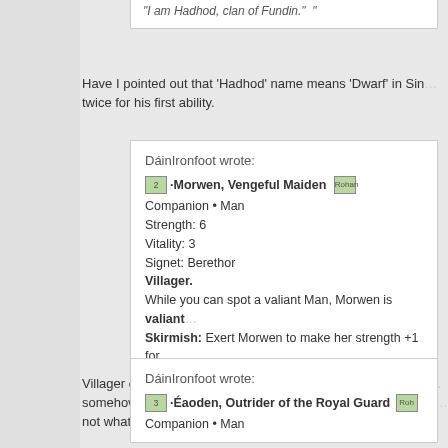"I am Hadhod, clan of Fundin."
Have I pointed out that 'Hadhod' name means 'Dwarf' in Sin... twice for his first ability.
DáinIronfoot wrote:
2•Morwen, Vengeful Maiden [Rohan icon] Companion • Man Strength: 6 Vitality: 3 Signet: Berethor Villager. While you can spot a valiant Man, Morwen is valiant... Skirmish: Exert Morwen to make her strength +1 for... your dead and discard piles. "I am the Shieldmaiden, Morwen."
Villager companion, eh? I think I'd just give her Valiant and b... somehow make it clearer that the followers also have to be M... not what it says. I like her though.
DáinIronfoot wrote:
3•Éaoden, Outrider of the Royal Guard [Rohan icon] Companion • Man